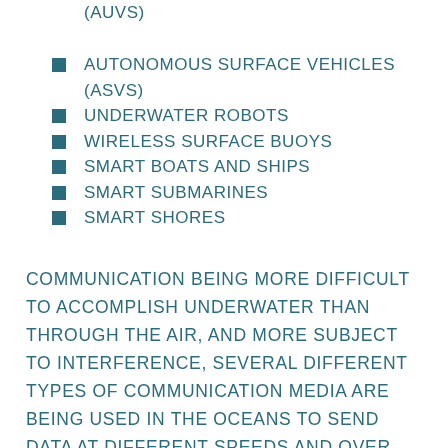AUTONOMOUS UNDERWATER VEHICLES (AUVS)
AUTONOMOUS SURFACE VEHICLES (ASVS)
UNDERWATER ROBOTS
WIRELESS SURFACE BUOYS
SMART BOATS AND SHIPS
SMART SUBMARINES
SMART SHORES
COMMUNICATION BEING MORE DIFFICULT TO ACCOMPLISH UNDERWATER THAN THROUGH THE AIR, AND MORE SUBJECT TO INTERFERENCE, SEVERAL DIFFERENT TYPES OF COMMUNICATION MEDIA ARE BEING USED IN THE OCEANS TO SEND DATA AT DIFFERENT SPEEDS AND OVER DIFFERENT DISTANCES.